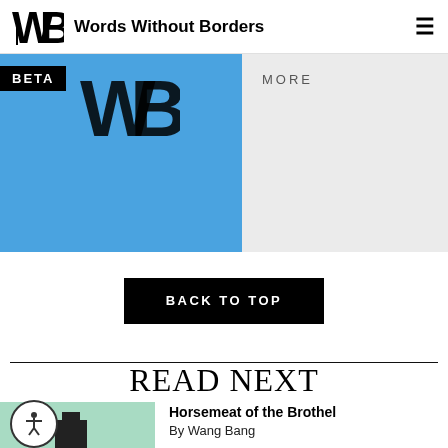Words Without Borders
[Figure (logo): Blue block with Words Without Borders WB logo and BETA label, MORE text on right]
BACK TO TOP
READ NEXT
Horsemeat of the Brothel
By Wang Bang